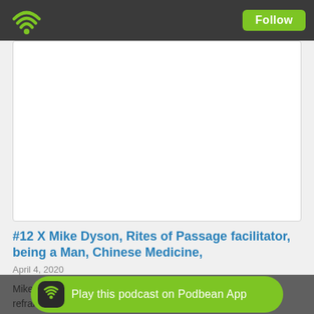Podbean header with Follow button
[Figure (screenshot): White blank card/image placeholder area for podcast episode]
#12 X Mike Dyson, Rites of Passage facilitator, being a Man, Chinese Medicine,
April 4, 2020
Mike Dyson is a Rites of Passage facilitator with a passion for reframing mental health and masculinity in a positive light. As founder of Good Blokes Co, Mike provides places for men and boys to co... bloke amongst th...
Play this podcast on Podbean App